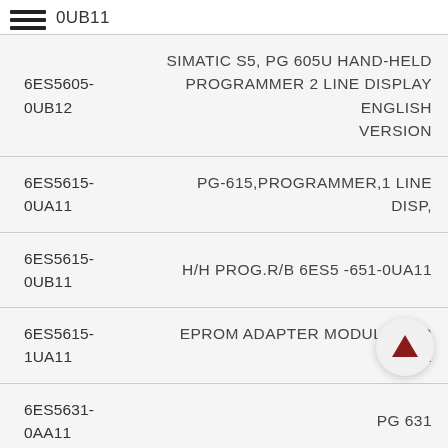0UB11
| Code | Description |
| --- | --- |
| 6ES5605-0UB12 | SIMATIC S5, PG 605U HAND-HELD PROGRAMMER 2 LINE DISPLAY ENGLISH VERSION |
| 6ES5615-0UA11 | PG-615,PROGRAMMER,1 LINE DISP, |
| 6ES5615-0UB11 | H/H PROG.R/B 6ES5 -651-0UA11 |
| 6ES5615-1UA11 | EPROM ADAPTER MODULE FOR PG 61 |
| 6ES5631-0AA11 | PG 631 |
[Figure (other): Scroll-to-top button with red upward arrow]